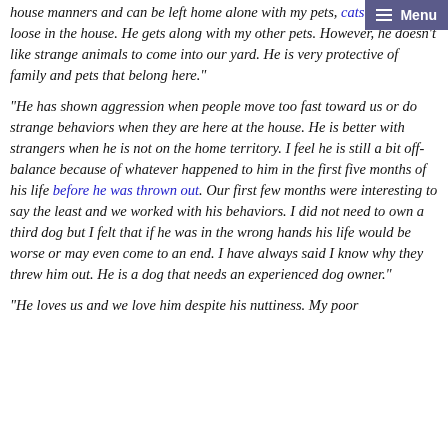Menu
house manners and can be left home alone with my pets, cats and dogs loose in the house. He gets along with my other pets. However, he doesn't like strange animals to come into our yard. He is very protective of family and pets that belong here."
"He has shown aggression when people move too fast toward us or do strange behaviors when they are here at the house. He is better with strangers when he is not on the home territory. I feel he is still a bit off-balance because of whatever happened to him in the first five months of his life before he was thrown out. Our first few months were interesting to say the least and we worked with his behaviors. I did not need to own a third dog but I felt that if he was in the wrong hands his life would be worse or may even come to an end. I have always said I know why they threw him out. He is a dog that needs an experienced dog owner."
"He loves us and we love him despite his nuttiness. My poor